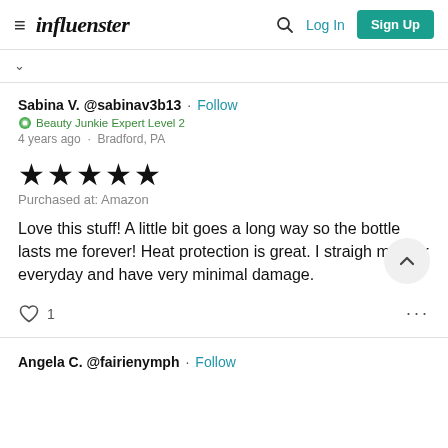influenster | Log In | Sign Up
Sabina V. @sabinav3b13 · Follow
Beauty Junkie Expert Level 2
4 years ago · Bradford, PA
★★★★★ Purchased at: Amazon
Love this stuff! A little bit goes a long way so the bottle lasts me forever! Heat protection is great. I straigh my hair everyday and have very minimal damage.
♡ 1
Angela C. @fairienymph · Follow